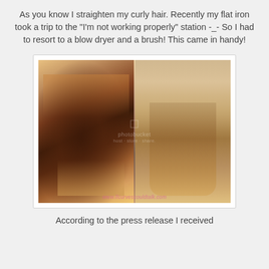As you know I straighten my curly hair. Recently my flat iron took a trip to the "I'm not working properly" station -_- So I had to resort to a blow dryer and a brush! This came in handy!
[Figure (photo): Two-panel photo: left side shows a round barrel brush with hair wrapped around it during blow drying; right side shows a woman with straight brown hair, wearing white top, taken from shoulder up]
According to the press release I received